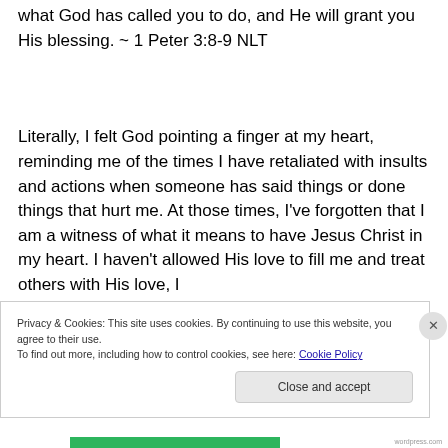what God has called you to do, and He will grant you His blessing. ~ 1 Peter 3:8-9 NLT
Literally, I felt God pointing a finger at my heart, reminding me of the times I have retaliated with insults and actions when someone has said things or done things that hurt me. At those times, I've forgotten that I am a witness of what it means to have Jesus Christ in my heart. I haven't allowed His love to fill me and treat others with His love, I
Privacy & Cookies: This site uses cookies. By continuing to use this website, you agree to their use.
To find out more, including how to control cookies, see here: Cookie Policy